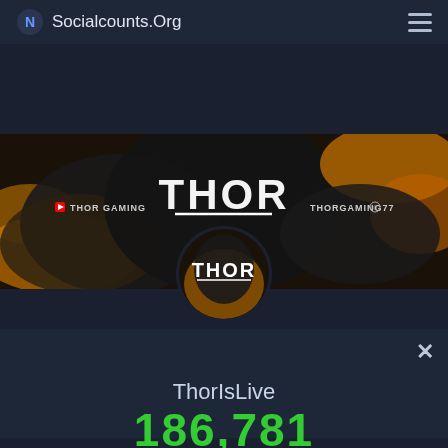Socialcounts.Org
[Figure (photo): Thor Gaming YouTube channel banner with orange and dark background, showing 'THOR GAMING' and 'THORGAMING77' text, with 'THOR' logo in center, and circular avatar below]
ThorIsLive
186,781
Subscribers